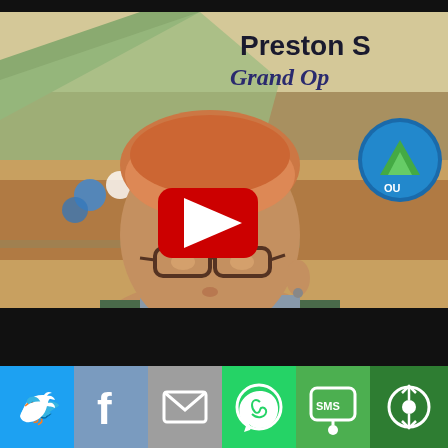[Figure (screenshot): YouTube video thumbnail showing a person with short reddish hair and glasses taking a selfie at an event venue with blue balloons and a crowd in the background. A banner reads 'Preston S... Grand Op...' with a blue/green outdoor logo. A red YouTube play button is overlaid in the center.]
[Figure (infographic): Social media share bar with six buttons: Twitter (blue bird icon), Facebook (blue f icon), Email (grey envelope icon), WhatsApp (green phone icon), SMS (green SMS icon), More (dark green share icon)]